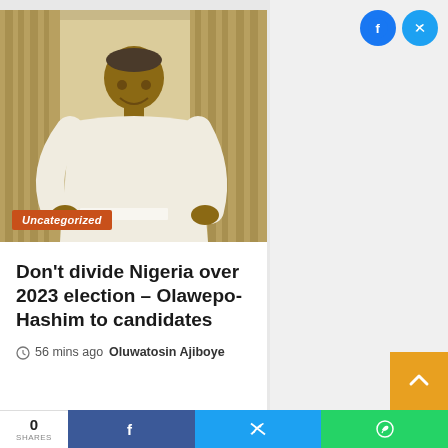[Figure (photo): Portrait photo of a man in white traditional Nigerian attire and a Muslim cap, smiling, holding papers, standing in front of curtains. An 'Uncategorized' orange badge overlays the bottom-left of the image.]
Don't divide Nigeria over 2023 election – Olawepo-Hashim to candidates
56 mins ago  Oluwatosin Ajiboye